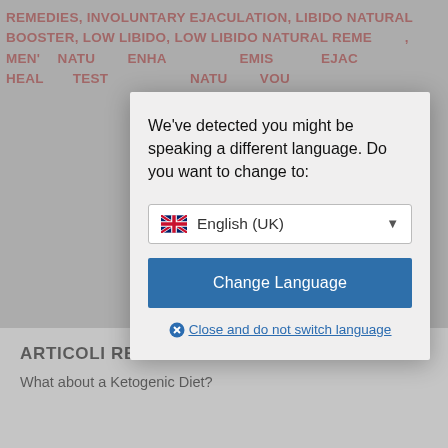REMEDIES, INVOLUNTARY EJACULATION, LIBIDO NATURAL BOOSTER, LOW LIBIDO, LOW LIBIDO NATURAL REMEDIES, MEN'S, NATURAL, ENHANCEMENT, EMISSIONS, EJACULATION, HEALING, TESTOSTERONE, NATURAL, VOUCHERS
[Figure (screenshot): Language detection modal dialog with 'We've detected you might be speaking a different language. Do you want to change to:' message, a dropdown selector showing English (UK) with UK flag, a blue 'Change Language' button, and a 'Close and do not switch language' link]
ARTICOLI RECENTI
What about a Ketogenic Diet?